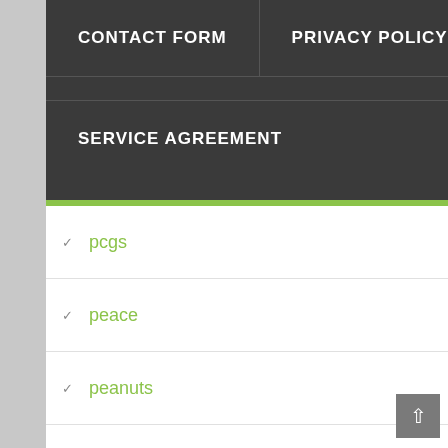CONTACT FORM | PRIVACY POLICY | SERVICE AGREEMENT
pcgs
peace
peanuts
people
perfect
pf-70
pf69
pf69uc
pf70
pf70ucam
philadelphia
phoenicia